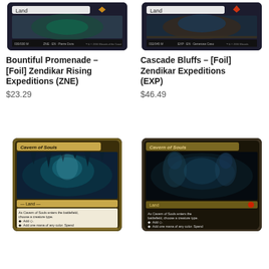[Figure (photo): Magic: The Gathering card image - Bountiful Promenade Foil Zendikar Rising Expeditions, showing Land type bar and card details]
Bountiful Promenade – [Foil] Zendikar Rising Expeditions (ZNE)
$23.29
[Figure (photo): Magic: The Gathering card image - Cascade Bluffs Foil Zendikar Expeditions, showing Land type bar and card details]
Cascade Bluffs – [Foil] Zendikar Expeditions (EXP)
$46.49
[Figure (photo): Magic: The Gathering card - Cavern of Souls, showing cavern artwork with teal/blue colors and card text about choosing a creature type]
[Figure (photo): Magic: The Gathering card - Cavern of Souls alternate art, darker version with ghostly figures in a cavern, Land type shown]